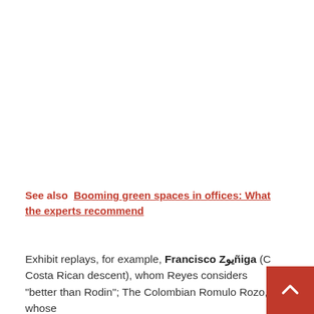See also  Booming green spaces in offices: What the experts recommend
Exhibit replays, for example, Francisco Zيوñiga (C Costa Rican descent), whom Reyes considers "better than Rodin"; The Colombian Romulo Rozo, whose